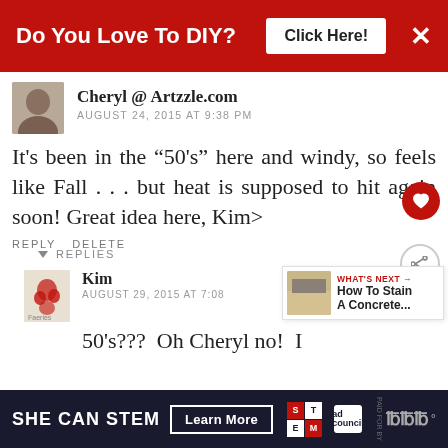[Figure (screenshot): Red advertisement banner: 'Do You Love To DIY? Click Here!' with X close button]
Cheryl @ Artzzle.com
AUGUST 24, 2015 AT 9:38 PM
It's been in the "50's" here and windy, so feels like Fall . . . but heat is supposed to hit again soon! Great idea here, Kim>
REPLY DELETE
REPLIES
Kim
AUGUST 29, 2015 AT 7:08
WHAT'S NEXT → How To Stain A Concrete...
50's???  Oh  Cheryl  no!  I
[Figure (screenshot): Bottom advertisement banner: SHE CAN STEM - Learn More - ad council logo]